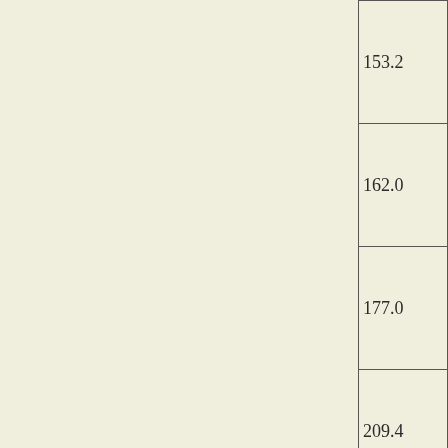| 153.2 |
| 162.0 |
| 177.0 |
| 209.4 |
| 211.5 |
| 215.6 |